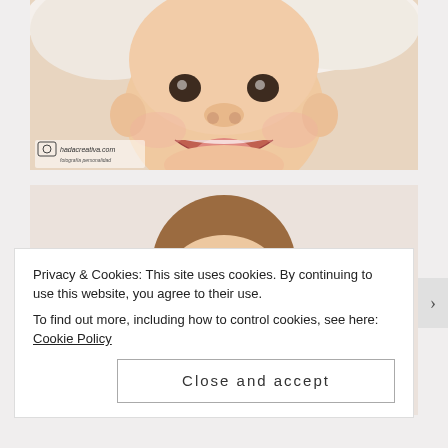[Figure (photo): Close-up photo of a smiling baby lying on a white fluffy blanket, mouth open wide, with a watermark logo 'hadacreativa.com' in the bottom left corner.]
[Figure (photo): Photo of a young smiling girl with her hair in a bun, wearing a white sleeveless top, against a light beige/white background.]
Privacy & Cookies: This site uses cookies. By continuing to use this website, you agree to their use.
To find out more, including how to control cookies, see here: Cookie Policy
Close and accept